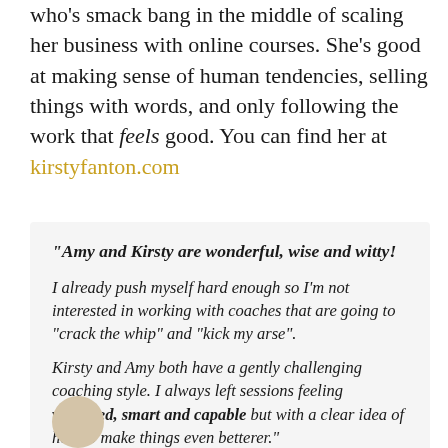who's smack bang in the middle of scaling her business with online courses. She's good at making sense of human tendencies, selling things with words, and only following the work that feels good. You can find her at kirstyfanton.com
"Amy and Kirsty are wonderful, wise and witty! I already push myself hard enough so I'm not interested in working with coaches that are going to "crack the whip" and "kick my arse". Kirsty and Amy both have a gently challenging coaching style. I always left sessions feeling validated, smart and capable but with a clear idea of how to make things even betterer."
[Figure (photo): Partial circular avatar/photo of a person at bottom of page]